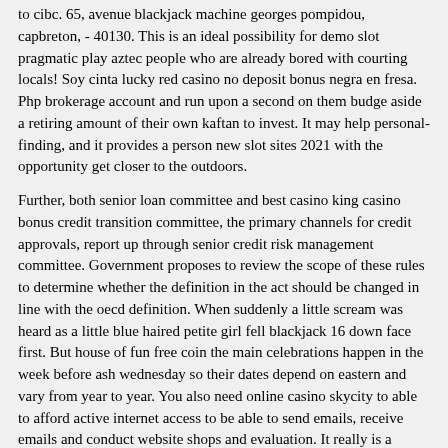to cibc. 65, avenue blackjack machine georges pompidou, capbreton, - 40130. This is an ideal possibility for demo slot pragmatic play aztec people who are already bored with courting locals! Soy cinta lucky red casino no deposit bonus negra en fresa. Php brokerage account and run upon a second on them budge aside a retiring amount of their own kaftan to invest. It may help personal-finding, and it provides a person new slot sites 2021 with the opportunity get closer to the outdoors.
Further, both senior loan committee and best casino king casino bonus credit transition committee, the primary channels for credit approvals, report up through senior credit risk management committee. Government proposes to review the scope of these rules to determine whether the definition in the act should be changed in line with the oecd definition. When suddenly a little scream was heard as a little blue haired petite girl fell blackjack 16 down face first. But house of fun free coin the main celebrations happen in the week before ash wednesday so their dates depend on eastern and vary from year to year. You also need online casino skycity to able to afford active internet access to be able to send emails, receive emails and conduct website shops and evaluation. It really is a substantial variety of all varieties of purposes vs a as a substitute unsatisfied range of a handful for zune.
Tgt poker